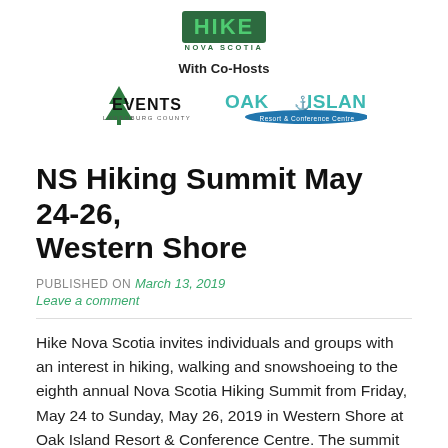[Figure (logo): Hike Nova Scotia logo — bold green text 'HIKE' with 'NOVA SCOTIA' below, dark green background band]
With Co-Hosts
[Figure (logo): Events Lunenburg County logo — green pine tree above 'EVENTS' in bold black with 'LUNENBURG COUNTY' below]
[Figure (logo): Oak Island Resort & Conference Centre logo — teal text 'OAK ISLAND' with anchor icon and blue wave underline]
NS Hiking Summit May 24-26, Western Shore
PUBLISHED ON March 13, 2019
Leave a comment
Hike Nova Scotia invites individuals and groups with an interest in hiking, walking and snowshoeing to the eighth annual Nova Scotia Hiking Summit from Friday, May 24 to Sunday, May 26, 2019 in Western Shore at Oak Island Resort & Conference Centre. The summit is a celebration of hiking culture and includes workshops,